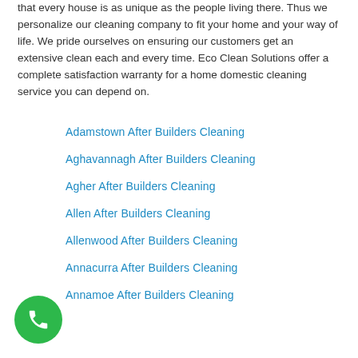that every house is as unique as the people living there. Thus we personalize our cleaning company to fit your home and your way of life. We pride ourselves on ensuring our customers get an extensive clean each and every time. Eco Clean Solutions offer a complete satisfaction warranty for a home domestic cleaning service you can depend on.
Adamstown After Builders Cleaning
Aghavannagh After Builders Cleaning
Agher After Builders Cleaning
Allen After Builders Cleaning
Allenwood After Builders Cleaning
Annacurra After Builders Cleaning
Annamoe After Builders Cleaning